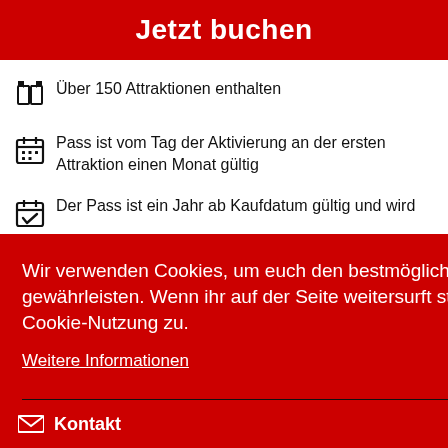Jetzt buchen
Über 150 Attraktionen enthalten
Pass ist vom Tag der Aktivierung an der ersten Attraktion einen Monat gültig
Der Pass ist ein Jahr ab Kaufdatum gültig und wird auf bei lom ersten Besuch der Attraktion
Wir verwenden Cookies, um euch den bestmöglichen Service zu gewährleisten. Wenn ihr auf der Seite weitersurft stimmt ihr der Cookie-Nutzung zu.
Weitere Informationen
Zustimmen
Kontakt